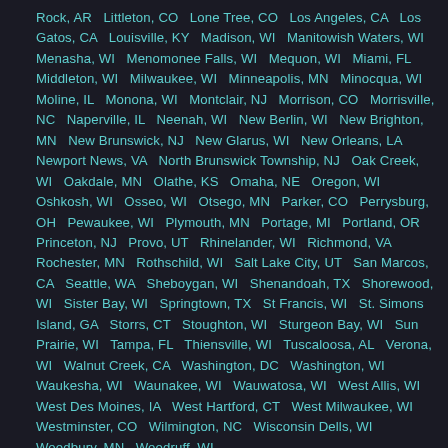Rock, AR   Littleton, CO   Lone Tree, CO   Los Angeles, CA   Los Gatos, CA   Louisville, KY   Madison, WI   Manitowish Waters, WI   Menasha, WI   Menomonee Falls, WI   Mequon, WI   Miami, FL   Middleton, WI   Milwaukee, WI   Minneapolis, MN   Minocqua, WI   Moline, IL   Monona, WI   Montclair, NJ   Morrison, CO   Morrisville, NC   Naperville, IL   Neenah, WI   New Berlin, WI   New Brighton, MN   New Brunswick, NJ   New Glarus, WI   New Orleans, LA   Newport News, VA   North Brunswick Township, NJ   Oak Creek, WI   Oakdale, MN   Olathe, KS   Omaha, NE   Oregon, WI   Oshkosh, WI   Osseo, WI   Otsego, MN   Parker, CO   Perrysburg, OH   Pewaukee, WI   Plymouth, MN   Portage, MI   Portland, OR   Princeton, NJ   Provo, UT   Rhinelander, WI   Richmond, VA   Rochester, MN   Rothschild, WI   Salt Lake City, UT   San Marcos, CA   Seattle, WA   Sheboygan, WI   Shenandoah, TX   Shorewood, WI   Sister Bay, WI   Springtown, TX   St Francis, WI   St. Simons Island, GA   Storrs, CT   Stoughton, WI   Sturgeon Bay, WI   Sun Prairie, WI   Tampa, FL   Thiensville, WI   Tuscaloosa, AL   Verona, WI   Walnut Creek, CA   Washington, DC   Washington, WI   Waukesha, WI   Waunakee, WI   Wauwatosa, WI   West Allis, WI   West Des Moines, IA   West Hartford, CT   West Milwaukee, WI   Westminster, CO   Wilmington, NC   Wisconsin Dells, WI   Woodbury, MN   Woodruff, WI